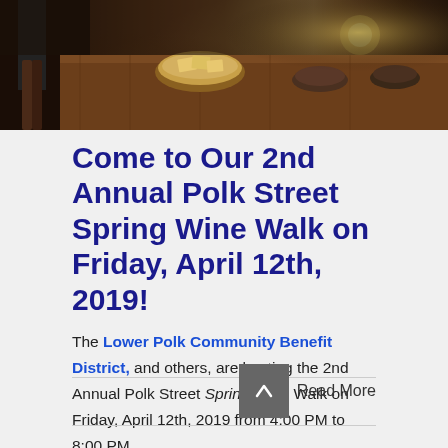[Figure (photo): Top portion of a photo showing a wooden table with food items including crackers and bowls, with a person's legs visible at the left edge. Dark warm-toned photograph of a wine tasting spread.]
Come to Our 2nd Annual Polk Street Spring Wine Walk on Friday, April 12th, 2019!
The Lower Polk Community Benefit District, and others, are hosting the 2nd Annual Polk Street Spring Wine Walk on Friday, April 12th, 2019 from 4:00 PM to 8:00 PM.
The tasting event will include merchants offering wine samples inside their ...
Read More